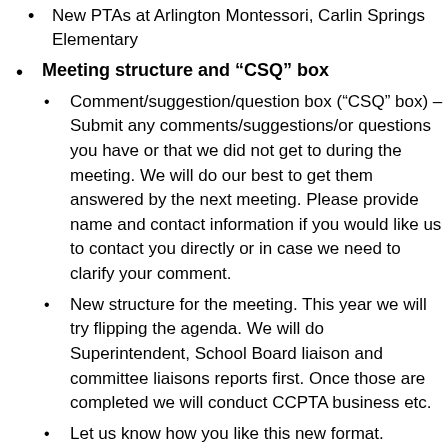New PTAs at Arlington Montessori, Carlin Springs Elementary
Meeting structure and “CSQ” box
Comment/suggestion/question box (“CSQ” box) – Submit any comments/suggestions/or questions you have or that we did not get to during the meeting. We will do our best to get them answered by the next meeting. Please provide name and contact information if you would like us to contact you directly or in case we need to clarify your comment.
New structure for the meeting. This year we will try flipping the agenda. We will do Superintendent, School Board liaison and committee liaisons reports first. Once those are completed we will conduct CCPTA business etc.
Let us know how you like this new format.